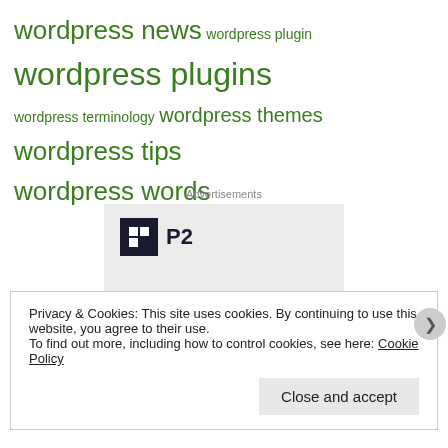wordpress news wordpress plugin wordpress plugins wordpress terminology wordpress themes wordpress tips wordpress words
Advertisements
[Figure (logo): P2 WordPress product advertisement with logo icon and headline 'Getting your team on the']
Privacy & Cookies: This site uses cookies. By continuing to use this website, you agree to their use. To find out more, including how to control cookies, see here: Cookie Policy
Close and accept